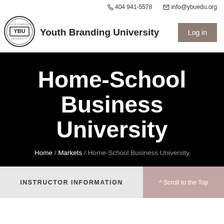404 941-5578   info@ybuedu.org
[Figure (logo): Youth Branding University circular seal logo with YBU text]
Youth Branding University
Home-School Business University
Home / Markets / Home-School Business University
INSTRUCTOR INFORMATION
^ Scroll to the Top